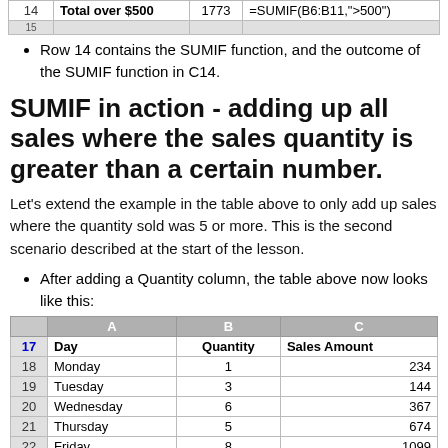|  | A | B | C |
| --- | --- | --- | --- |
| 14 | Total over $500 | 1773 | =SUMIF(B6:B11,">500") |
| 15 |  |  |  |
Row 14 contains the SUMIF function, and the outcome of the SUMIF function in C14.
SUMIF in action - adding up all sales where the sales quantity is greater than a certain number.
Let's extend the example in the table above to only add up sales where the quantity sold was 5 or more. This is the second scenario described at the start of the lesson.
After adding a Quantity column, the table above now looks like this:
|  | A | B | C |
| --- | --- | --- | --- |
| 17 | Day | Quantity | Sales Amount |
| 18 | Monday | 1 | 234 |
| 19 | Tuesday | 3 | 144 |
| 20 | Wednesday | 6 | 367 |
| 21 | Thursday | 5 | 674 |
| 22 | Friday | 8 | 1099 |
| 23 | Saturday | 3 | 233 |